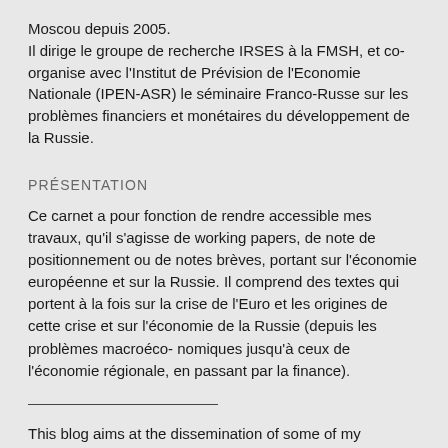Moscou depuis 2005.
Il dirige le groupe de recherche IRSES à la FMSH, et co-organise avec l'Institut de Prévision de l'Economie Nationale (IPEN-ASR) le séminaire Franco-Russe sur les problèmes financiers et monétaires du développement de la Russie.
PRÉSENTATION
Ce carnet a pour fonction de rendre accessible mes travaux, qu'il s'agisse de working papers, de note de positionnement ou de notes brèves, portant sur l'économie européenne et sur la Russie. Il comprend des textes qui portent à la fois sur la crise de l'Euro et les origines de cette crise et sur l'économie de la Russie (depuis les problèmes macroéco- nomiques jusqu'à ceux de l'économie régionale, en passant par la finance).
This blog aims at the dissemination of some of my research